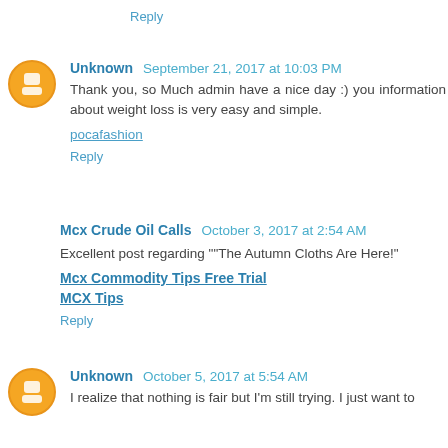Reply
Unknown  September 21, 2017 at 10:03 PM
Thank you, so Much admin have a nice day :) you information about weight loss is very easy and simple.
pocafashion
Reply
Mcx Crude Oil Calls  October 3, 2017 at 2:54 AM
Excellent post regarding ""The Autumn Cloths Are Here!"
Mcx Commodity Tips Free Trial
MCX Tips
Reply
Unknown  October 5, 2017 at 5:54 AM
I realize that nothing is fair but I'm still trying. I just want to